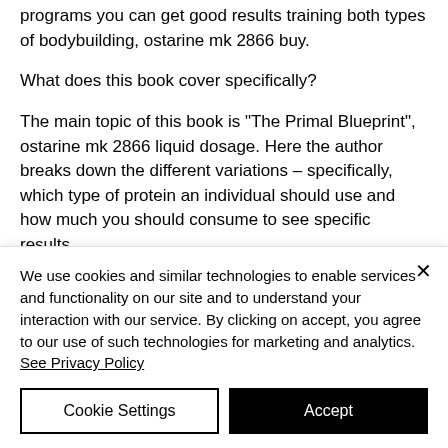programs you can get good results training both types of bodybuilding, ostarine mk 2866 buy.
What does this book cover specifically?
The main topic of this book is "The Primal Blueprint", ostarine mk 2866 liquid dosage. Here the author breaks down the different variations – specifically, which type of protein an individual should use and how much you should consume to see specific results.
We use cookies and similar technologies to enable services and functionality on our site and to understand your interaction with our service. By clicking on accept, you agree to our use of such technologies for marketing and analytics. See Privacy Policy